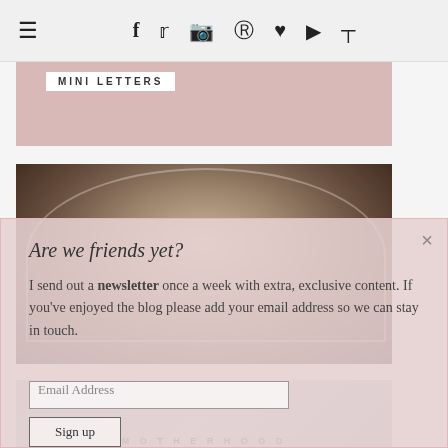Navigation bar with hamburger menu and social icons: f, twitter, instagram, pinterest, heart, youtube, rss
[Figure (photo): Blog card with pink background and 'MINI LETTERS' label overlay]
[Figure (photo): Ultrasound scan image with PREGNANCY label]
Are we friends yet? I send out a newsletter once a week with extra, exclusive content. If you've enjoyed the blog please add your email address so we can stay in touch.
[Figure (photo): Blog card with woman and child, MOTHERHOOD label]